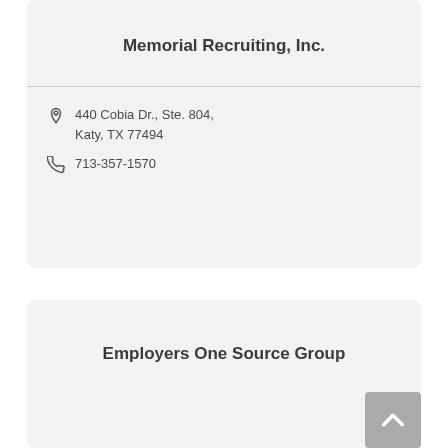Memorial Recruiting, Inc.
440 Cobia Dr., Ste. 804, Katy, TX 77494
713-357-1570
Employers One Source Group